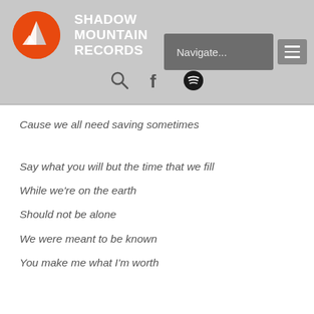[Figure (logo): Shadow Mountain Records logo: orange circle with white mountain silhouette, text SHADOW MOUNTAIN RECORDS in white bold capitals]
Navigate...
Cause we all need saving sometimes
Say what you will but the time that we fill
While we're on the earth
Should not be alone
We were meant to be known
You make me what I'm worth